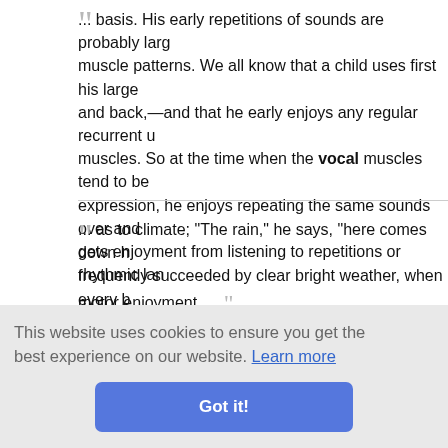... basis. His early repetitions of sounds are probably large muscle patterns. We all know that a child uses first his large and back,—and that he early enjoys any regular recurrent u muscles. So at the time when the vocal muscles tend to be expression, he enjoys repeating the same sounds over and gets enjoyment from listening to repetitions or rhythmic lang motor enjoyment. ...
— Here and Now Story Book - Two- to seven-year-olds • Lu
▸ Read full book for free!
... as to climate; "The rain," he says, "here comes down h frequently succeeded by clear bright weather, when every b every torrent sonorous; brooks and torrents which are never artial show
s, all the tir Holland and Phyllis Ayrton remained side by side at the entr
This website uses cookies to ensure you get the best experience on our website. Learn more
Got it!